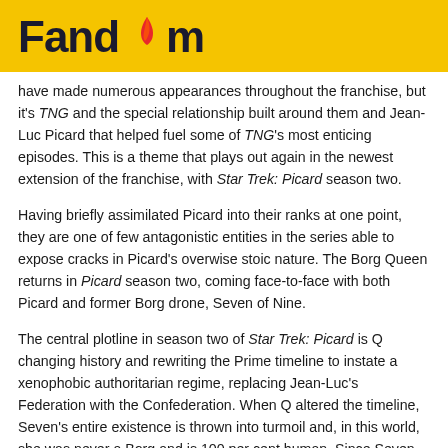Fandom
have made numerous appearances throughout the franchise, but it's TNG and the special relationship built around them and Jean-Luc Picard that helped fuel some of TNG's most enticing episodes. This is a theme that plays out again in the newest extension of the franchise, with Star Trek: Picard season two.
Having briefly assimilated Picard into their ranks at one point, they are one of few antagonistic entities in the series able to expose cracks in Picard's overwise stoic nature. The Borg Queen returns in Picard season two, coming face-to-face with both Picard and former Borg drone, Seven of Nine.
The central plotline in season two of Star Trek: Picard is Q changing history and rewriting the Prime timeline to instate a xenophobic authoritarian regime, replacing Jean-Luc's Federation with the Confederation. When Q altered the timeline, Seven's entire existence is thrown into turmoil and, in this world, she was never a Borg and is 100 per cent human. Since Seven no longer has Borg facial implants, this is also the first time she is living without the discrimination that comes with being a Borg. The big question in season two is whether she will decide to fight for her human existence, which would see her coming up against Jean-Luc and